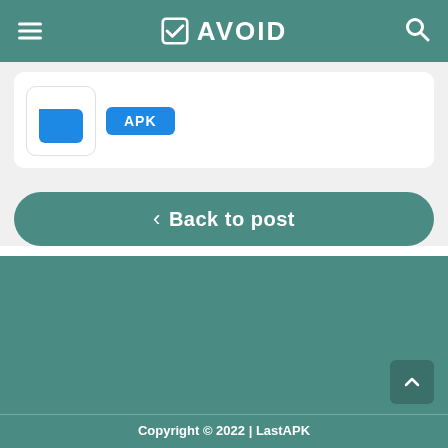AVOID
[Figure (screenshot): App card showing a blue app icon and APK badge]
< Back to post
Copyright © 2022 | LastAPK